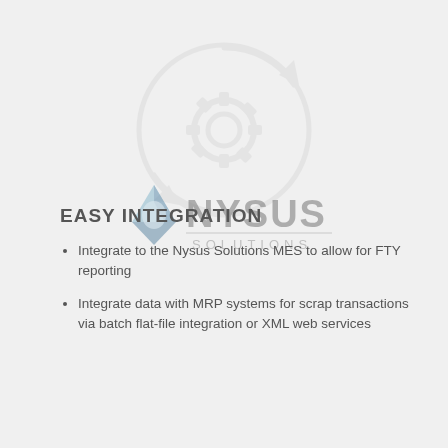[Figure (logo): Nysus Solutions circular gear/arrow watermark logo in light gray, centered in background]
[Figure (logo): Nysus Solutions 3D arrow logo mark and NYSUS SOLUTIONS text logo, semi-transparent, centered on page]
EASY INTEGRATION
Integrate to the Nysus Solutions MES to allow for FTY reporting
Integrate data with MRP systems for scrap transactions via batch flat-file integration or XML web services